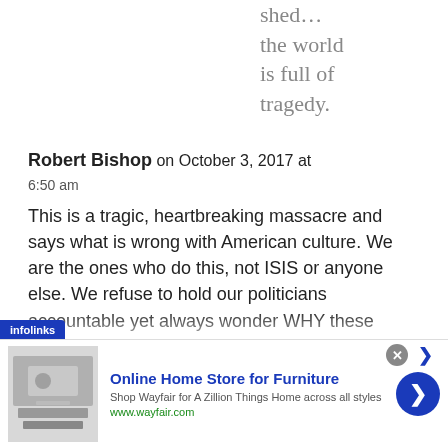shed… the world is full of tragedy.
Robert Bishop on October 3, 2017 at 6:50 am
This is a tragic, heartbreaking massacre and says what is wrong with American culture. We are the ones who do this, not ISIS or anyone else. We refuse to hold our politicians accountable yet always wonder WHY these shootings
[Figure (other): Infolinks advertisement banner for Wayfair Online Home Store for Furniture with close button and navigation arrow]